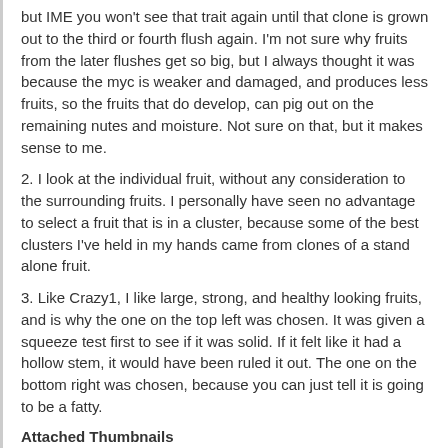but IME you won't see that trait again until that clone is grown out to the third or fourth flush again. I'm not sure why fruits from the later flushes get so big, but I always thought it was because the myc is weaker and damaged, and produces less fruits, so the fruits that do develop, can pig out on the remaining nutes and moisture. Not sure on that, but it makes sense to me.
2. I look at the individual fruit, without any consideration to the surrounding fruits. I personally have seen no advantage to select a fruit that is in a cluster, because some of the best clusters I've held in my hands came from clones of a stand alone fruit.
3. Like Crazy1, I like large, strong, and healthy looking fruits, and is why the one on the top left was chosen. It was given a squeeze test first to see if it was solid. If it felt like it had a hollow stem, it would have been ruled it out. The one on the bottom right was chosen, because you can just tell it is going to be a fatty.
Attached Thumbnails
[Figure (photo): Thumbnail photo of white fuzzy mushroom fruits clustered together on a grey background]